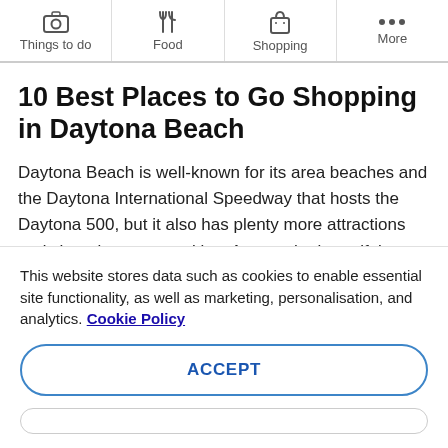Things to do | Food | Shopping | More
10 Best Places to Go Shopping in Daytona Beach
Daytona Beach is well-known for its area beaches and the Daytona International Speedway that hosts the Daytona 500, but it also has plenty more attractions and shopping opportunities. Among the beautiful stretches of beach, there are also water
This website stores data such as cookies to enable essential site functionality, as well as marketing, personalisation, and analytics. Cookie Policy
ACCEPT